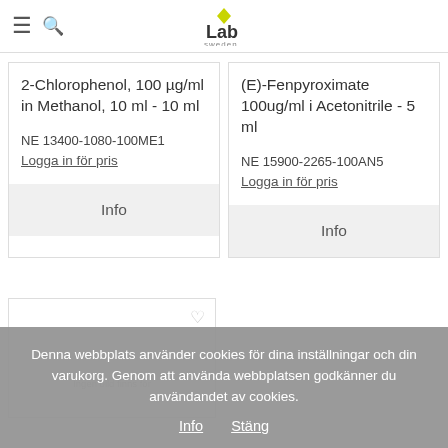Lab Sweden — navigation header with logo
2-Chlorophenol, 100 µg/ml in Methanol, 10 ml - 10 ml
NE 13400-1080-100ME1
Logga in för pris
Info
(E)-Fenpyroximate 100ug/ml i Acetonitrile - 5 ml
NE 15900-2265-100AN5
Logga in för pris
Info
[Figure (other): Product card with no image placeholder and heart/favorite icon]
Ingen bild finns för
Denna webbplats använder cookies för dina inställningar och din varukorg. Genom att använda webbplatsen godkänner du användandet av cookies.
Info   Stäng